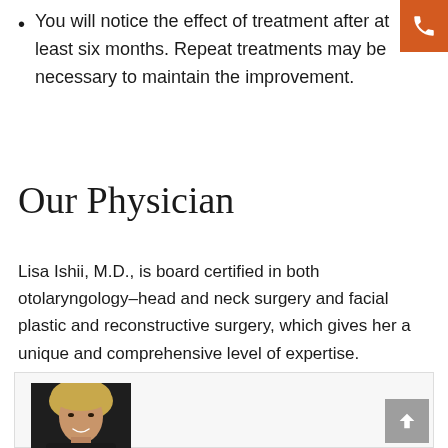You will notice the effect of treatment after at least six months. Repeat treatments may be necessary to maintain the improvement.
Our Physician
Lisa Ishii, M.D., is board certified in both otolaryngology–head and neck surgery and facial plastic and reconstructive surgery, which gives her a unique and comprehensive level of expertise.
[Figure (photo): Professional headshot photo of a blonde woman (Dr. Lisa Ishii) in a dark top, smiling, in a card/profile box]